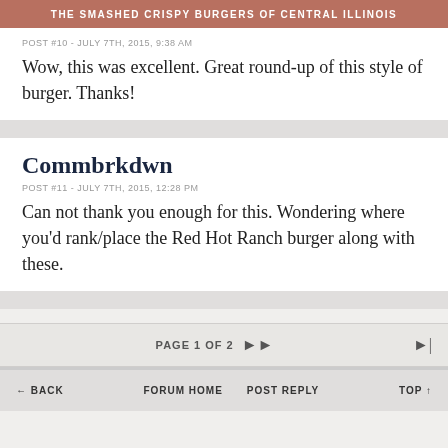THE SMASHED CRISPY BURGERS OF CENTRAL ILLINOIS
POST #10 - JULY 7TH, 2015, 9:38 AM
Wow, this was excellent. Great round-up of this style of burger. Thanks!
Commbrkdwn
POST #11 - JULY 7TH, 2015, 12:28 PM
Can not thank you enough for this. Wondering where you'd rank/place the Red Hot Ranch burger along with these.
PAGE 1 OF 2
← BACK   FORUM HOME   POST REPLY   TOP ↑